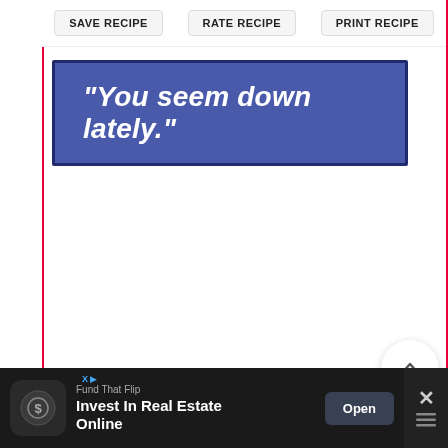[Figure (screenshot): Three action buttons at top: SAVE RECIPE, RATE RECIPE, PRINT RECIPE]
[Figure (infographic): Blue banner with white italic bold text: "You seem down lately."]
381
[Figure (infographic): Floating action buttons: upvote chevron, heart (381 count), pink search magnifier]
[Figure (infographic): Advertisement bar: Fund That Flip - Invest In Real Estate Online - Open button - close X]